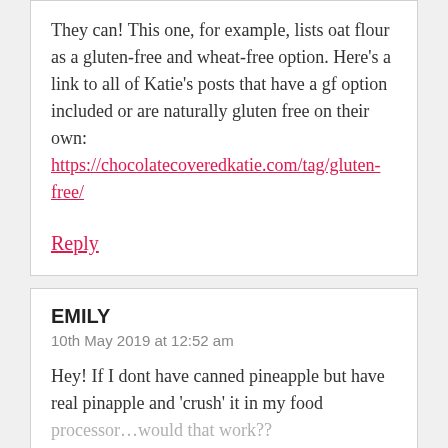They can! This one, for example, lists oat flour as a gluten-free and wheat-free option. Here's a link to all of Katie's posts that have a gf option included or are naturally gluten free on their own: https://chocolatecoveredkatie.com/tag/gluten-free/
Reply
EMILY
10th May 2019 at 12:52 am
Hey! If I dont have canned pineapple but have real pinapple and 'crush' it in my food processor…would that work??